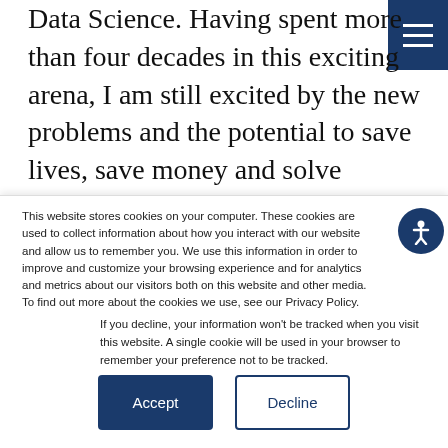Data Science. Having spent more than four decades in this exciting arena, I am still excited by the new problems and the potential to save lives, save money and solve problems with the innovative research and applications in these fields.
This website stores cookies on your computer. These cookies are used to collect information about how you interact with our website and allow us to remember you. We use this information in order to improve and customize your browsing experience and for analytics and metrics about our visitors both on this website and other media. To find out more about the cookies we use, see our Privacy Policy.
If you decline, your information won't be tracked when you visit this website. A single cookie will be used in your browser to remember your preference not to be tracked.